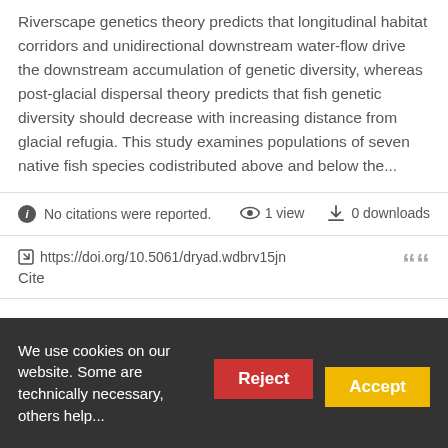Riverscape genetics theory predicts that longitudinal habitat corridors and unidirectional downstream water-flow drive the downstream accumulation of genetic diversity, whereas post-glacial dispersal theory predicts that fish genetic diversity should decrease with increasing distance from glacial refugia. This study examines populations of seven native fish species codistributed above and below the...
No citations were reported. 1 view 0 downloads
https://doi.org/10.5061/dryad.wdbrv15jn Cite
Data from: Enigmatic hook-like
We use cookies on our website. Some are technically necessary, others help...